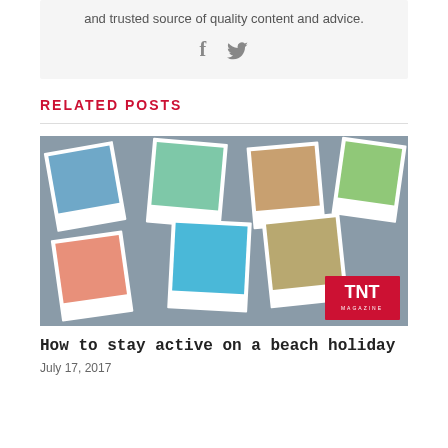and trusted source of quality content and advice.
[Figure (illustration): Social media icons: Facebook (f) and Twitter (bird) in grey]
RELATED POSTS
[Figure (photo): Collage of polaroid-style travel photographs scattered across the frame, with a red TNT Magazine badge in the bottom right corner]
How to stay active on a beach holiday
July 17, 2017